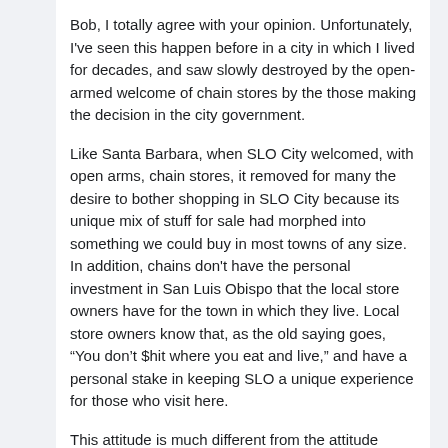Bob, I totally agree with your opinion. Unfortunately, I've seen this happen before in a city in which I lived for decades, and saw slowly destroyed by the open-armed welcome of chain stores by the those making the decision in the city government.
Like Santa Barbara, when SLO City welcomed, with open arms, chain stores, it removed for many the desire to bother shopping in SLO City because its unique mix of stuff for sale had morphed into something we could buy in most towns of any size. In addition, chains don't have the personal investment in San Luis Obispo that the local store owners have for the town in which they live. Local store owners know that, as the old saying goes, “You don’t $hit where you eat and live,” and have a personal stake in keeping SLO a unique experience for those who visit here.
This attitude is much different from the attitude chain stores bring to a city.
The intent of the outcome of the power the chain stores wield on city decision making is directly, and only, related to corporate profit. The only care chain stores have about the ultimate outcome of the chain-store-ification of SLO–the loss of the heart and soul of the city–is being able to extract their SLO City shopping orientation and...